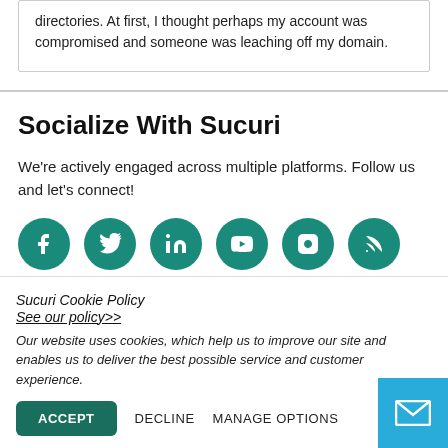directories. At first, I thought perhaps my account was compromised and someone was leaching off my domain.
Socialize With Sucuri
We're actively engaged across multiple platforms. Follow us and let's connect!
[Figure (illustration): Six circular teal social media icons: Facebook, Twitter, LinkedIn, YouTube, Instagram, RSS feed]
Sucuri Cookie Policy
See our policy>>
Our website uses cookies, which help us to improve our site and enables us to deliver the best possible service and customer experience.
ACCEPT   DECLINE   MANAGE OPTIONS